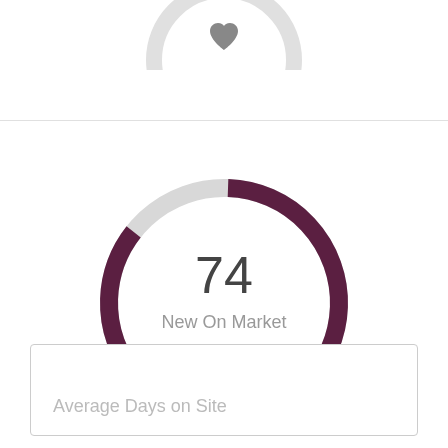[Figure (donut-chart): New On Market]
Average Days on Site